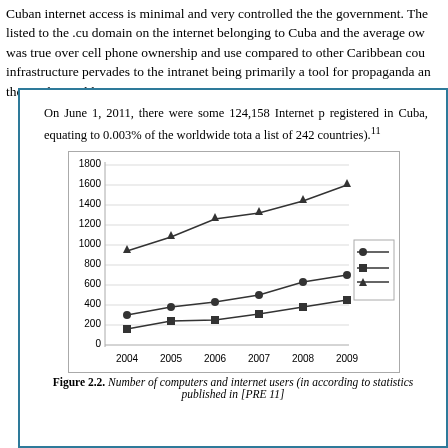Cuban internet access is minimal and very controlled the the government. The listed to the .cu domain on the internet belonging to Cuba and the average ow was true over cell phone ownership and use compared to other Caribbean cou infrastructure pervades to the intranet being primarily a tool for propaganda an those who could access it.
On June 1, 2011, there were some 124,158 Internet p registered in Cuba, equating to 0.003% of the worldwide tota a list of 242 countries).¹¹
[Figure (line-chart): Number of computers and internet users]
Figure 2.2. Number of computers and internet users (in according to statistics published in [PRE 11]